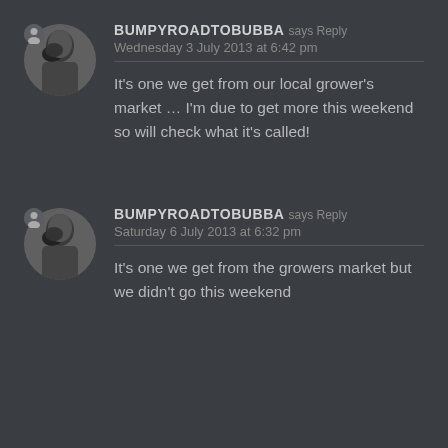BUMPYROADTOBUBBA says Reply
Wednesday 3 July 2013 at 6:42 pm
It's one we get from our local grower's market … I'm due to get more this weekend so will check what it's called!
BUMPYROADTOBUBBA says Reply
Saturday 6 July 2013 at 6:32 pm
It's one we get from the growers market but we didn't go this weekend